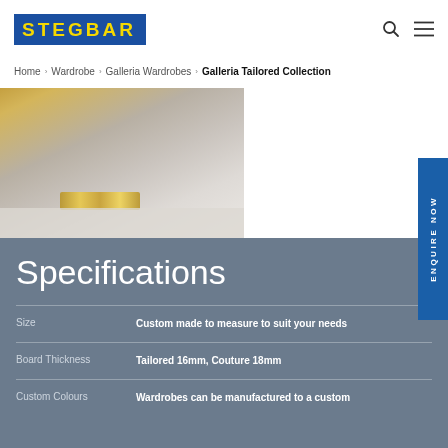STEGBAR
Home > Wardrobe > Galleria Wardrobes > Galleria Tailored Collection
[Figure (photo): Close-up photo of a wardrobe door handle in gold/brass finish against a light grey panel]
Specifications
| Attribute | Value |
| --- | --- |
| Size | Custom made to measure to suit your needs |
| Board Thickness | Tailored 16mm, Couture 18mm |
| Custom Colours | Wardrobes can be manufactured to a custom |